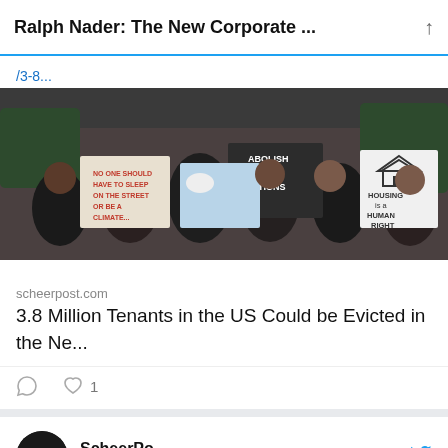Ralph Nader: The New Corporate ...
/3-8...
[Figure (photo): Protest photo showing people holding signs including 'Abolish Winter Evictions', 'Housing is a Human Right', and 'No one should have to sleep on the streets']
scheerpost.com
3.8 Million Tenants in the US Could be Evicted in the Ne...
Choose Your Elected Representatives in Congress Wisely: They Will